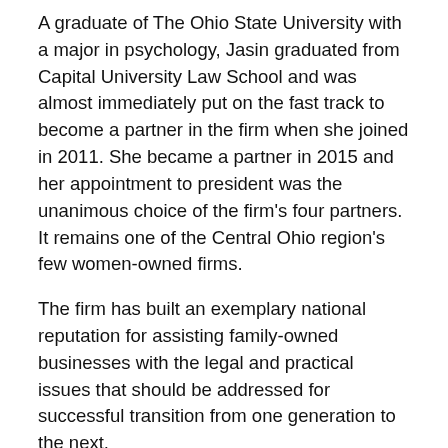A graduate of The Ohio State University with a major in psychology, Jasin graduated from Capital University Law School and was almost immediately put on the fast track to become a partner in the firm when she joined in 2011. She became a partner in 2015 and her appointment to president was the unanimous choice of the firm's four partners. It remains one of the Central Ohio region's few women-owned firms.
The firm has built an exemplary national reputation for assisting family-owned businesses with the legal and practical issues that should be addressed for successful transition from one generation to the next.
“Like Bea, I love what I do. I’m grateful to lead a firm that not only prioritizes our clients, but our families, as well,” explains Jasin. “Bea and Dick have set the groundwork for this firm’s continued success, and it’s one of the things that sets our firm apart. My commitment to that objective is unwavering.”
While the firm is recognized as a leader in family business